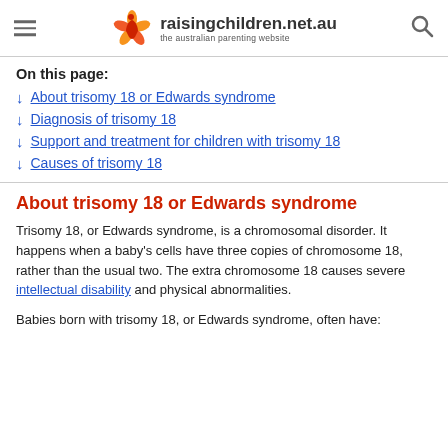raisingchildren.net.au — the australian parenting website
On this page:
About trisomy 18 or Edwards syndrome
Diagnosis of trisomy 18
Support and treatment for children with trisomy 18
Causes of trisomy 18
About trisomy 18 or Edwards syndrome
Trisomy 18, or Edwards syndrome, is a chromosomal disorder. It happens when a baby's cells have three copies of chromosome 18, rather than the usual two. The extra chromosome 18 causes severe intellectual disability and physical abnormalities.
Babies born with trisomy 18, or Edwards syndrome, often have: